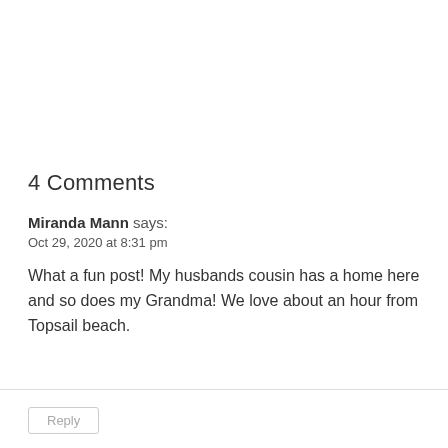4 Comments
Miranda Mann says:
Oct 29, 2020 at 8:31 pm
What a fun post! My husbands cousin has a home here and so does my Grandma! We love about an hour from Topsail beach.